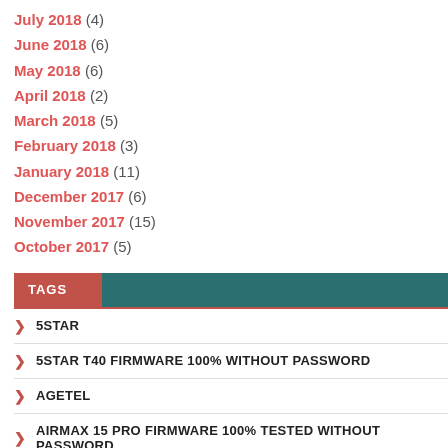July 2018 (4)
June 2018 (6)
May 2018 (6)
April 2018 (2)
March 2018 (5)
February 2018 (3)
January 2018 (11)
December 2017 (6)
November 2017 (15)
October 2017 (5)
TAGS
5STAR
5STAR T40 FIRMWARE 100% WITHOUT PASSWORD
AGETEL
AIRMAX 15 PRO FIRMWARE 100% TESTED WITHOUT PASSWORD
AIRMAX A15 FLASH FILE100% TESTED WITHOUT PASSWORD